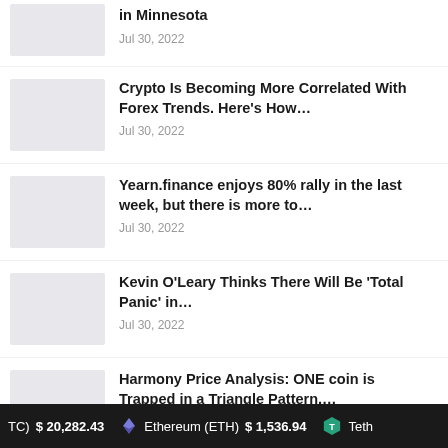in Minnesota — Jul 30, 2022
Crypto Is Becoming More Correlated With Forex Trends. Here's How… — Jul 30, 2022
Yearn.finance enjoys 80% rally in the last week, but there is more to… — Jul 30, 2022
Kevin O'Leary Thinks There Will Be 'Total Panic' in… — Jul 30, 2022
Harmony Price Analysis: ONE coin is Trapped in a Triangle Pattern,… — Jul 30, 2022
(BTC) $ 20,282.43   Ethereum (ETH) $ 1,536.94   Teth